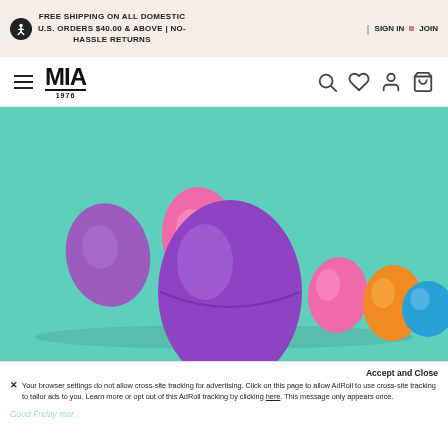FREE SHIPPING ON ALL DOMESTIC U.S. ORDERS $40.00 & ABOVE | NO-HASSLE RETURNS | SIGN IN • JOIN
[Figure (logo): MIA 1976 brand logo with hamburger menu and navigation icons (search, wishlist, account, cart)]
[Figure (photo): Colorful plastic Easter eggs on a teal/mint green background. A large purple egg is in the foreground, with smaller pink, orange, and blue eggs behind it.]
Accept and Close
✕ Your browser settings do not allow cross-site tracking for advertising. Click on this page to allow AdRoll to use cross-site tracking to tailor ads to you. Learn more or opt out of this AdRoll tracking by clicking here. This message only appears once.
Good Friday mar...